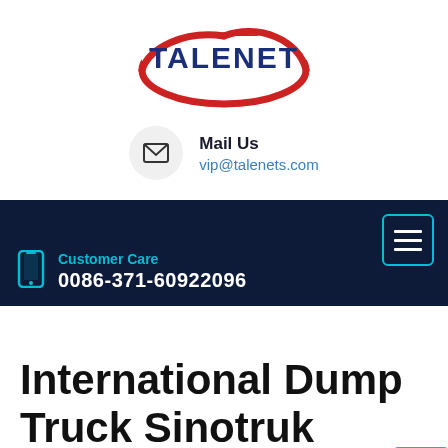[Figure (logo): Talenet logo — bold dark blue text 'TALENET' with a red swoosh oval around it]
Mail Us
vip@talenets.com
[Figure (infographic): Dark navy navigation bar with hamburger menu icon (cyan border), phone icon, 'Customer Care' label in cyan, and phone number '0086-371-60922096' in white]
International Dump Truck Sinotruk Howo